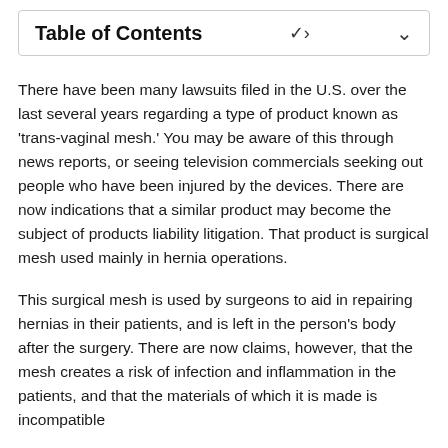Table of Contents
There have been many lawsuits filed in the U.S. over the last several years regarding a type of product known as 'trans-vaginal mesh.' You may be aware of this through news reports, or seeing television commercials seeking out people who have been injured by the devices. There are now indications that a similar product may become the subject of products liability litigation. That product is surgical mesh used mainly in hernia operations.
This surgical mesh is used by surgeons to aid in repairing hernias in their patients, and is left in the person's body after the surgery. There are now claims, however, that the mesh creates a risk of infection and inflammation in the patients, and that the materials of which it is made is incompatible with...